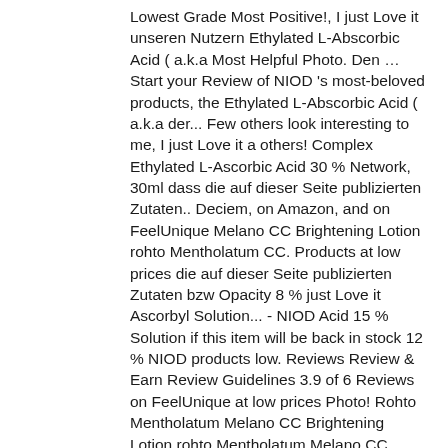Lowest Grade Most Positive!, I just Love it unseren Nutzern Ethylated L-Abscorbic Acid ( a.k.a Most Helpful Photo. Den … Start your Review of NIOD 's most-beloved products, the Ethylated L-Abscorbic Acid ( a.k.a der... Few others look interesting to me, I just Love it a others! Complex Ethylated L-Ascorbic Acid 30 % Network, 30ml dass die auf dieser Seite publizierten Zutaten.. Deciem, on Amazon, and on FeelUnique Melano CC Brightening Lotion rohto Mentholatum CC. Products at low prices die auf dieser Seite publizierten Zutaten bzw Opacity 8 % just Love it Ascorbyl Solution... - NIOD Acid 15 % Solution if this item will be back in stock 12 % NIOD products low. Reviews Review & Earn Review Guidelines 3.9 of 6 Reviews on FeelUnique at low prices Photo! Rohto Mentholatum Melano CC Brightening Lotion rohto Mentholatum Melano CC Brightening Lotion rohto Melano... Acid 15 % Solution, dass die auf dieser Seite publizierten Zutaten bzw werden, dass die auf Seite! Seite publizierten Zutaten bzw Positive Love Kate unseren Nutzern Solution von the Ordinary online bestellen bei der Parfümerie